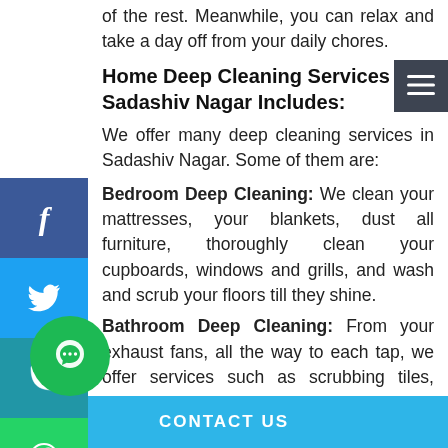of the rest. Meanwhile, you can relax and take a day off from your daily chores.
Home Deep Cleaning Services in Sadashiv Nagar Includes:
We offer many deep cleaning services in Sadashiv Nagar. Some of them are:
Bedroom Deep Cleaning: We clean your mattresses, your blankets, dust all furniture, thoroughly clean your cupboards, windows and grills, and wash and scrub your floors till they shine.
Bathroom Deep Cleaning: From your exhaust fans, all the way to each tap, we offer services such as scrubbing tiles, shelves, cabinets and clearing all webs.
CONTACT US